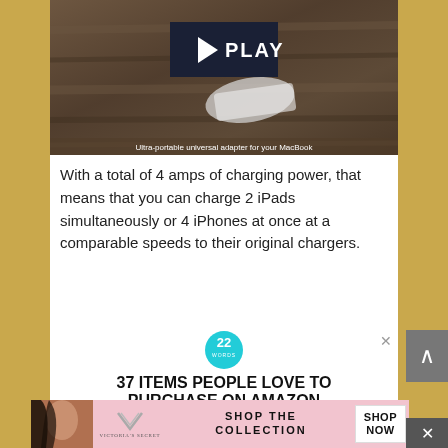[Figure (photo): Photo of a white MacBook charger/adapter on a dark wooden surface with a dark navy PLAY button overlay. Caption reads: Ultra-portable universal adapter for your MacBook]
Ultra-portable universal adapter for your MacBook
With a total of 4 amps of charging power, that means that you can charge 2 iPads simultaneously or 4 iPhones at once at a comparable speeds to their original chargers.
[Figure (screenshot): Advertisement: 22 Words logo (teal circle with '22' and 'WORDS'). Headline: 37 ITEMS PEOPLE LOVE TO PURCHASE ON AMAZON. Product images of black egg-shaped speakers/items. CLOSE button.]
[Figure (screenshot): Victoria's Secret banner advertisement with model photo, VS logo, text 'SHOP THE COLLECTION', and 'SHOP NOW' button.]